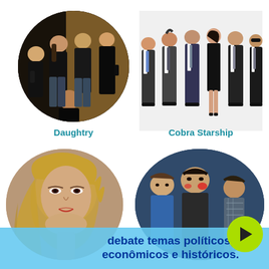[Figure (photo): Daughtry band members in circular crop, dark clothing, posed in a dim golden interior]
[Figure (photo): Cobra Starship band members standing in suits and black dress against white background]
Daughtry
Cobra Starship
[Figure (photo): Leona Lewis portrait in circular crop, blonde hair, dramatic makeup]
[Figure (photo): Fun. band members in circular crop with play button overlay, colorful face paint]
debate temas políticos, econômicos e históricos.